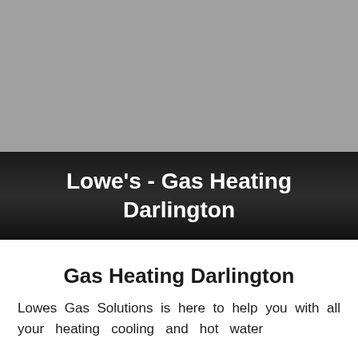[Figure (photo): Gray photograph area showing a blurred or placeholder image background]
Lowe's - Gas Heating Darlington
Gas Heating Darlington
Lowes Gas Solutions is here to help you with all your heating, cooling and hot water